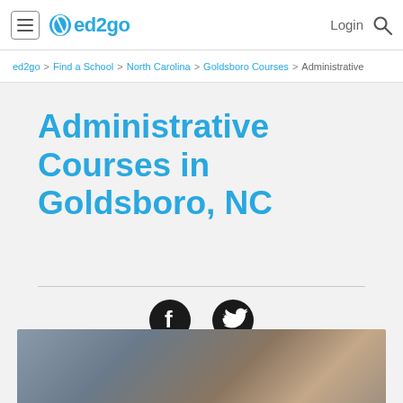ed2go — Login [Search]
ed2go > Find a School > North Carolina > Goldsboro Courses > Administrative
Administrative Courses in Goldsboro, NC
[Figure (illustration): Facebook and Twitter social media icons (dark circular buttons)]
[Figure (photo): Partial photo of people, partially visible at bottom of page]